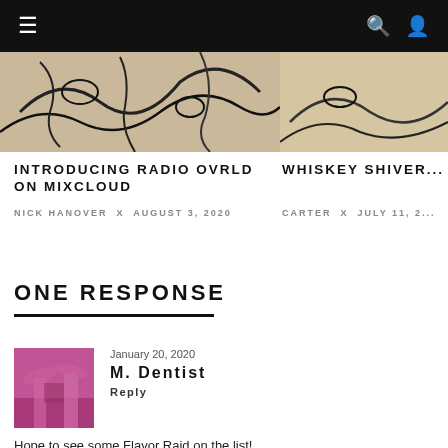Navigation bar with hamburger menu, search icon, and user icon
[Figure (photo): Partial view of an illustrated/drawn image with dark lines on tan/beige background (left card image)]
INTRODUCING RADIO OVRLD ON MIXCLOUD
NICK HANOVER × AUGUST 3, 2020
WHISKEY SHIVER...
CARTER × JULY 11, 2...
ONE RESPONSE
[Figure (photo): Small square avatar image with a pink/magenta toned photo of palm trees and a building]
January 20, 2020
M. Dentist
Reply
Hope to see some Flavor Raid on the list!